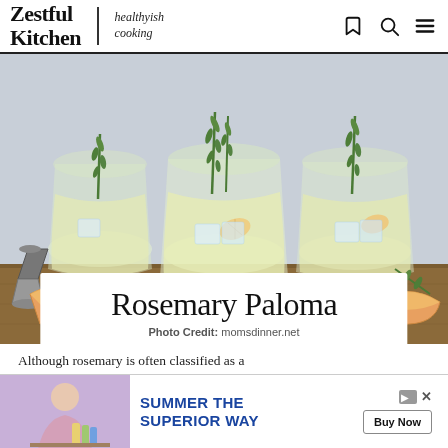Zestful Kitchen | healthyish cooking
[Figure (photo): Three stemless glasses filled with pale yellow Rosemary Paloma cocktail, garnished with fresh rosemary sprigs and grapefruit slices, arranged on a wooden board with citrus fruits and a cocktail jigger in the background.]
Rosemary Paloma
Photo Credit: momsdinner.net
Although rosemary is often classified as a
[Figure (screenshot): Advertisement banner: SUMMER THE SUPERIOR WAY with Buy Now button and decorative product photo on the left.]